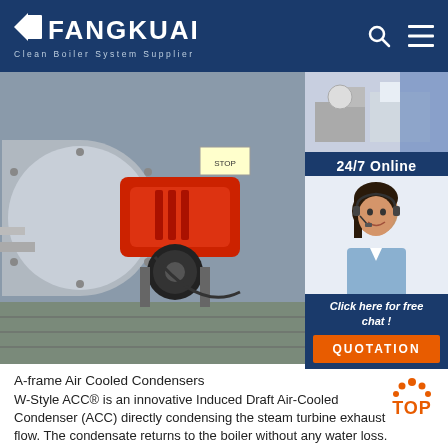FANGKUAI Clean Boiler System Supplier
[Figure (photo): Industrial boiler with red burner unit in a facility setting]
[Figure (photo): Small facility thumbnail image in sidebar top]
24/7 Online
[Figure (photo): Customer service agent woman with headset smiling]
Click here for free chat !
QUOTATION
A-frame Air Cooled Condensers
W-Style ACC® is an innovative Induced Draft Air-Cooled Condenser (ACC) directly condensing the steam turbine exhaust flow. The condensate returns to the boiler without any water loss. With its unique 'W' heat exchanger structure, the amount of steel and overall height of